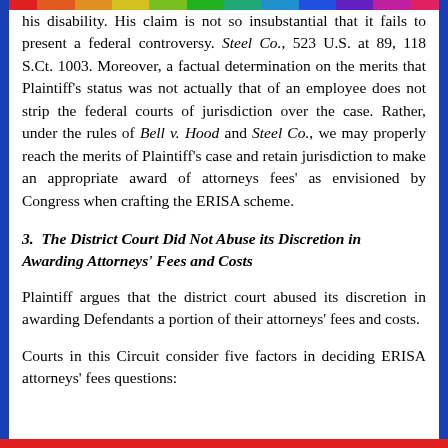his disability. His claim is not so insubstantial that it fails to present a federal controversy. Steel Co., 523 U.S. at 89, 118 S.Ct. 1003. Moreover, a factual determination on the merits that Plaintiff's status was not actually that of an employee does not strip the federal courts of jurisdiction over the case. Rather, under the rules of Bell v. Hood and Steel Co., we may properly reach the merits of Plaintiff's case and retain jurisdiction to make an appropriate award of attorneys fees' as envisioned by Congress when crafting the ERISA scheme.
3.  The District Court Did Not Abuse its Discretion in Awarding Attorneys' Fees and Costs
Plaintiff argues that the district court abused its discretion in awarding Defendants a portion of their attorneys' fees and costs.
Courts in this Circuit consider five factors in deciding ERISA attorneys' fees questions: